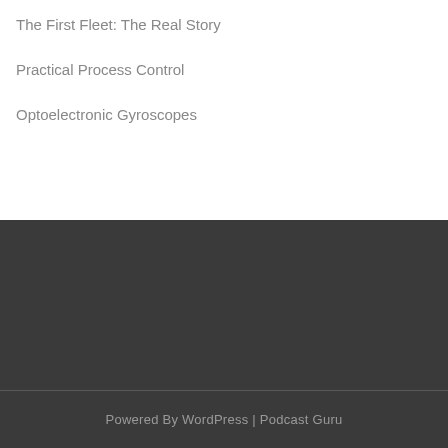The First Fleet: The Real Story
Practical Process Control
Optoelectronic Gyroscopes
Powered By WordPress | Podcast Guru